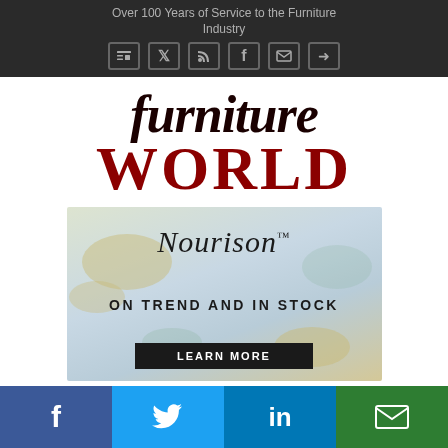Over 100 Years of Service to the Furniture Industry
[Figure (logo): Furniture World magazine logo with 'furniture' in dark serif italic and 'WORLD' in large bold red serif capitals]
[Figure (infographic): Nourison advertisement banner with stylized script logo, text 'ON TREND AND IN STOCK' and a 'LEARN MORE' button on a textured map-like background]
[Figure (infographic): Social sharing bar with four buttons: Facebook (blue), Twitter (light blue), LinkedIn (dark blue), Email (green)]